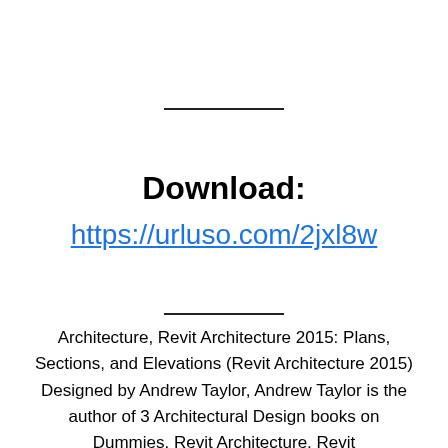Download:
https://urluso.com/2jxl8w
Architecture, Revit Architecture 2015: Plans, Sections, and Elevations (Revit Architecture 2015) Designed by Andrew Taylor, Andrew Taylor is the author of 3 Architectural Design books on Dummies. Revit Architecture, Revit